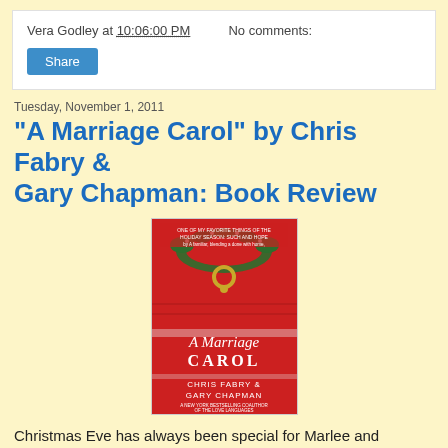Vera Godley at 10:06:00 PM    No comments:
Share
Tuesday, November 1, 2011
"A Marriage Carol" by Chris Fabry & Gary Chapman: Book Review
[Figure (photo): Book cover of 'A Marriage Carol' by Chris Fabry & Gary Chapman. Red cover with a Christmas wreath and door knocker. Text reads: A Marriage Carol, Chris Fabry & Gary Chapman.]
Christmas Eve has always been special for Marlee and